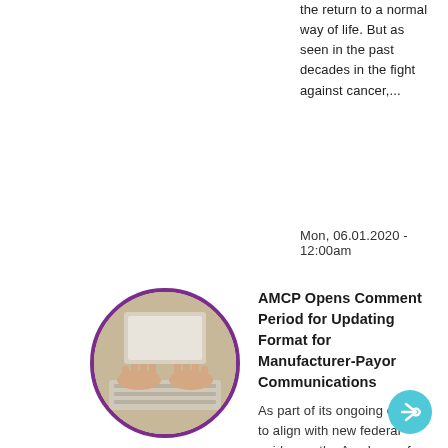the return to a normal way of life. But as seen in the past decades in the fight against cancer,...
Elements of Value
Blog
Mon, 06.01.2020 - 12:00am
[Figure (photo): Circular thumbnail photo of hands typing on a laptop keyboard, with a purple border]
AMCP Opens Comment Period for Updating Format for Manufacturer-Payor Communications
As part of its ongoing efforts to align with new federal guidance, the Academy of Managed Care Pharmacy released an updated draft of its Format for Formulary Submissions for public comment. Read more...
Formulary Development